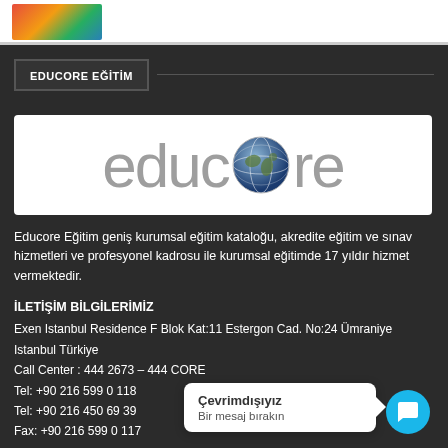[Figure (illustration): Small thumbnail image with colorful illustration in top-left corner]
EDUCORE EĞİTİM
[Figure (logo): Educore logo: grey lowercase text 'educore' with a globe icon replacing the letter 'o', on white background]
Educore Eğitim geniş kurumsal eğitim kataloğu, akredite eğitim ve sınav hizmetleri ve profesyonel kadrosu ile kurumsal eğitimde 17 yıldır hizmet vermektedir.
İLETİŞİM BİLGİLERİMİZ
Exen Istanbul Residence F Blok Kat:11 Estergon Cad. No:24 Ümraniye Istanbul Türkiye
Call Center : 444 2673 – 444 CORE
Tel: +90 216 599 0 118
Tel: +90 216 450 69 39
Fax: +90 216 599 0 117
Çevrimdışıyız
Bir mesaj bırakın